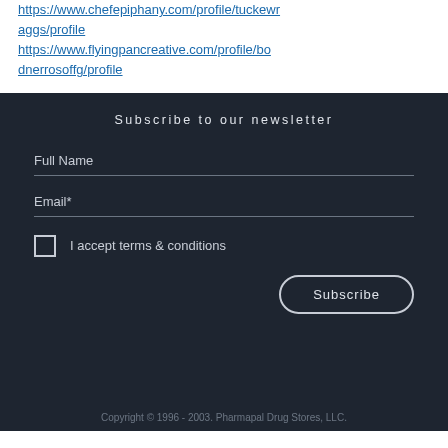https://www.chefepiphany.com/profile/tuckewr aggs/profile
https://www.flyingpancreative.com/profile/bodnerrosoffg/profile
Subscribe to our newsletter
Full Name
Email*
I accept terms & conditions
Subscribe
Copyright © 1996 - 2003. Pharmapal Drug Stores, LLC.